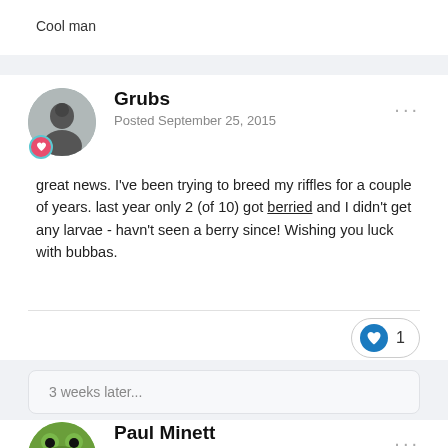Cool man
Grubs
Posted September 25, 2015
great news.  I've been trying to breed my riffles for a couple of years.  last year only 2 (of 10) got berried and I didn't get any larvae - havn't seen a berry since!  Wishing you luck with bubbas.
3 weeks later...
Paul Minett
Posted October 15, 2015